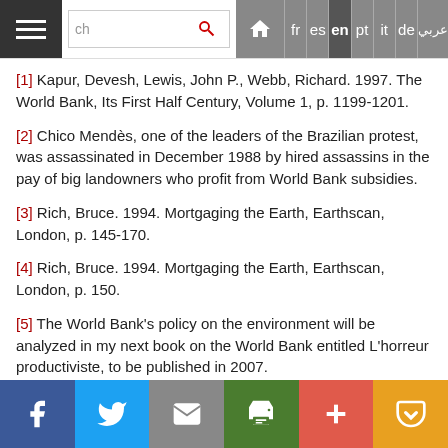Navigation bar with search and language options: fr, es, en (active), pt, it, de, Arabic
[1] Kapur, Devesh, Lewis, John P., Webb, Richard. 1997. The World Bank, Its First Half Century, Volume 1, p. 1199-1201.
[2] Chico Mendès, one of the leaders of the Brazilian protest, was assassinated in December 1988 by hired assassins in the pay of big landowners who profit from World Bank subsidies.
[3] Rich, Bruce. 1994. Mortgaging the Earth, Earthscan, London, p. 145-170.
[4] Rich, Bruce. 1994. Mortgaging the Earth, Earthscan, London, p. 150.
[5] The World Bank's policy on the environment will be analyzed in my next book on the World Bank entitled L'horreur productiviste, to be published in 2007.
Social sharing bar: Facebook, Twitter, Email, Print, Plus, Pocket